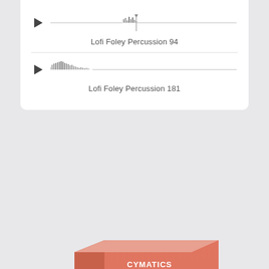[Figure (screenshot): Audio player with waveform for Lofi Foley Percussion 94]
Lofi Foley Percussion 94
[Figure (screenshot): Audio player with waveform for Lofi Foley Percussion 181]
Lofi Foley Percussion 181
[Figure (illustration): 3D product box for Cymatics LOFI Melodies and Vocals sample pack, coral/salmon colored box]